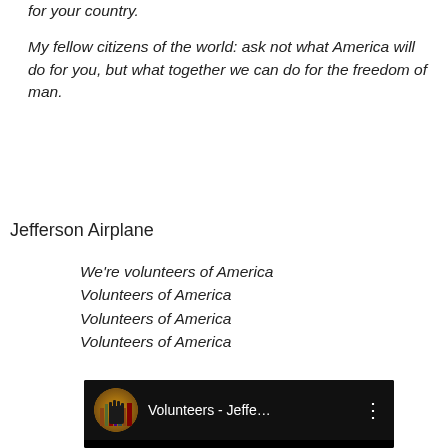for your country.
My fellow citizens of the world: ask not what America will do for you, but what together we can do for the freedom of man.
Jefferson Airplane
We're volunteers of America
Volunteers of America
Volunteers of America
Volunteers of America
[Figure (screenshot): YouTube video embed showing 'Volunteers - Jeffe...' with a circular logo icon of a raised fist with books in the background, on a black background with a three-dot menu icon.]